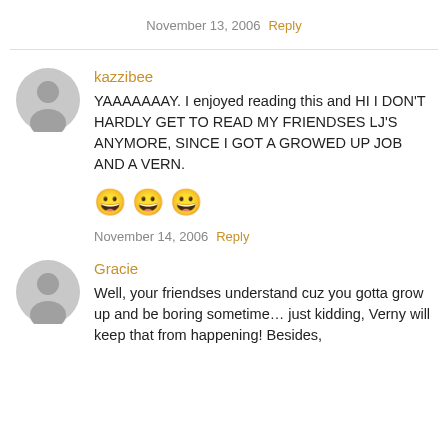November 13, 2006  Reply
kazzibee
YAAAAAAAY. I enjoyed reading this and HI I DON'T HARDLY GET TO READ MY FRIENDSES LJ'S ANYMORE, SINCE I GOT A GROWED UP JOB AND A VERN.
😀 😀 😀
November 14, 2006  Reply
Gracie
Well, your friendses understand cuz you gotta grow up and be boring sometime… just kidding, Verny will keep that from happening! Besides,